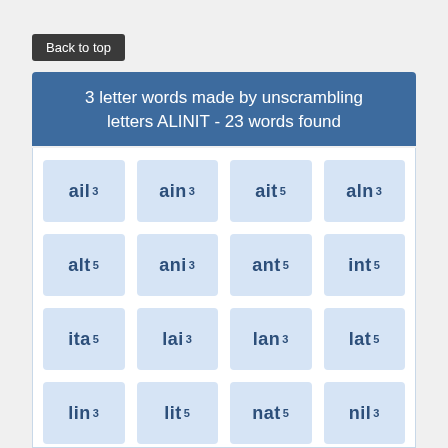Back to top
3 letter words made by unscrambling letters ALINIT - 23 words found
ail 3
ain 3
ait 5
aln 3
alt 5
ani 3
ant 5
int 5
ita 5
lai 3
lan 3
lat 5
lin 3
lit 5
nat 5
nil 3
nit 5
tai 5
tal 5
tan 5